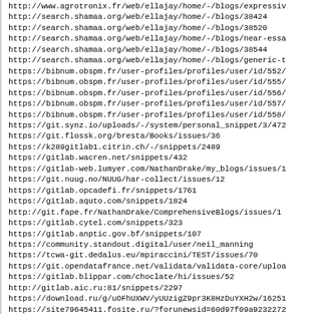http://www.agrotronix.fr/web/ellajay/home/-/blogs/expressiv
http://search.shamaa.org/web/ellajay/home/-/blogs/38424
http://search.shamaa.org/web/ellajay/home/-/blogs/38520
http://search.shamaa.org/web/ellajay/home/-/blogs/near-essa
http://search.shamaa.org/web/ellajay/home/-/blogs/38544
http://search.shamaa.org/web/ellajay/home/-/blogs/generic-t
https://bibnum.obspm.fr/user-profiles/profiles/user/id/552/
https://bibnum.obspm.fr/user-profiles/profiles/user/id/555/
https://bibnum.obspm.fr/user-profiles/profiles/user/id/556/
https://bibnum.obspm.fr/user-profiles/profiles/user/id/557/
https://bibnum.obspm.fr/user-profiles/profiles/user/id/558/
https://git.synz.io/uploads/-/system/personal_snippet/3/472
https://git.flossk.org/bresta/Books/issues/36
https://k289gitlab1.citrin.ch/-/snippets/2489
https://gitlab.wacren.net/snippets/432
https://gitlab-web.lumyer.com/NathanDrake/my_blogs/issues/1
https://git.nuug.no/NUUG/har-collect/issues/12
https://gitlab.opcadefi.fr/snippets/1761
https://gitlab.aquto.com/snippets/1824
http://git.fape.fr/NathanDrake/ComprehensiveBlogs/issues/1
https://gitlab.cytel.com/snippets/323
https://gitlab.anptic.gov.bf/snippets/107
https://community.standout.digital/user/neil_manning
https://tcwa-git.dedalus.eu/mpiraccini/TEST/issues/70
https://git.opendatafrance.net/validata/validata-core/uploa
https://gitlab.blippar.com/choclate/hi/issues/52
http://gitlab.aic.ru:81/snippets/2297
https://download.ru/g/uOFhUXWV/yUUzigZ9pr3K8HzDuYXH2w/16251
https://site79645411.fosite.ru/?forunewsid=60d97f09a9232272